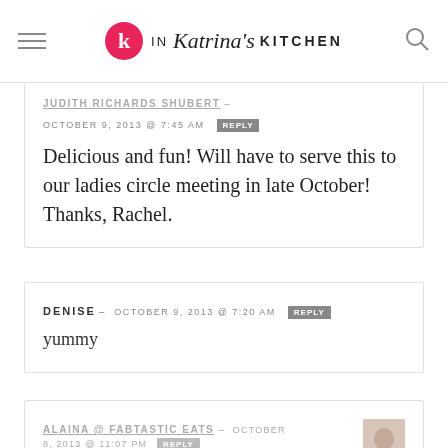IN Katrina's KITCHEN
JUDITH RICHARDS SHUBERT – OCTOBER 9, 2013 @ 7:45 AM REPLY
Delicious and fun! Will have to serve this to our ladies circle meeting in late October! Thanks, Rachel.
DENISE – OCTOBER 9, 2013 @ 7:20 AM REPLY
yummy
ALAINA @ FABTASTIC EATS – OCTOBER 8, 2013 @ 11:07 PM REPLY